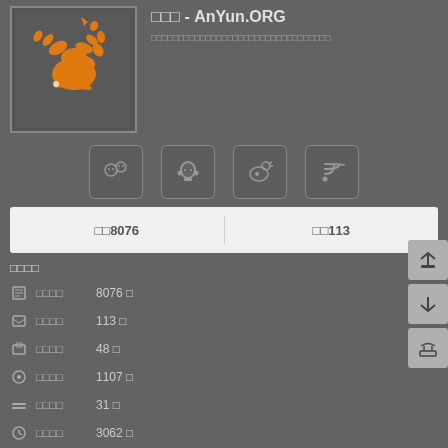[Figure (logo): Orange scorpion logo on dark background]
□□□ - AnYun.ORG
□□□□□□□□□□□□□□□□□□□□□□□□□□□□□□□□□□
[Figure (infographic): Social media icons: WeChat, QQ, Weibo, RSS]
| □□ 8076 | □□ 113 |
| --- | --- |
□□□□
□□□□  8076 □
□□□□  113 □
□□□□  48 □
□□□□  1107 □
□□□□  31 □
□□□□  3062 □